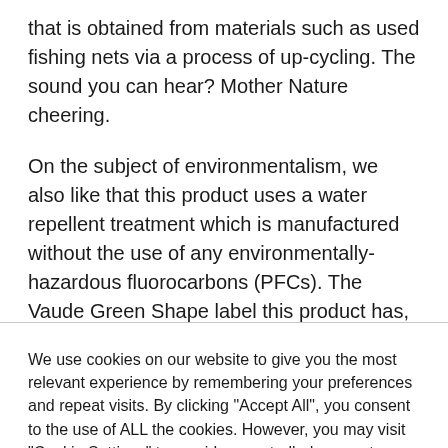that is obtained from materials such as used fishing nets via a process of up-cycling. The sound you can hear? Mother Nature cheering.
On the subject of environmentalism, we also like that this product uses a water repellent treatment which is manufactured without the use of any environmentally-hazardous fluorocarbons (PFCs). The Vaude Green Shape label this product has, which you'll see across much of the brand's collection now, represents environmentally-friendly,
We use cookies on our website to give you the most relevant experience by remembering your preferences and repeat visits. By clicking "Accept All", you consent to the use of ALL the cookies. However, you may visit "Cookie Settings" to provide a controlled consent.